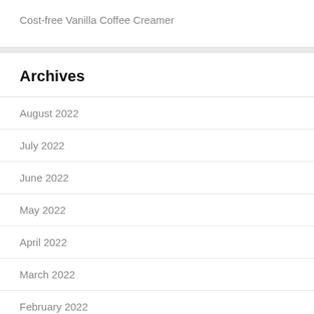Cost-free Vanilla Coffee Creamer
Archives
August 2022
July 2022
June 2022
May 2022
April 2022
March 2022
February 2022
January 2022